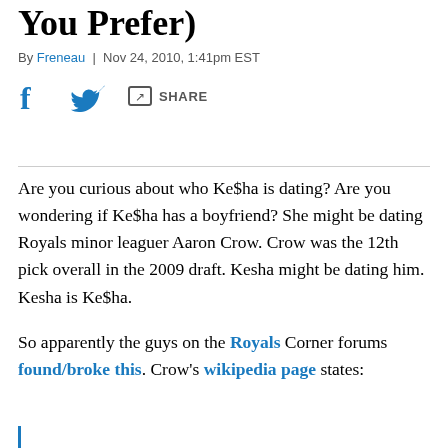You Prefer)
By Freneau | Nov 24, 2010, 1:41pm EST
[Figure (other): Social share bar with Facebook, Twitter, and Share icons]
Are you curious about who Ke$ha is dating? Are you wondering if Ke$ha has a boyfriend? She might be dating Royals minor leaguer Aaron Crow. Crow was the 12th pick overall in the 2009 draft. Kesha might be dating him. Kesha is Ke$ha.
So apparently the guys on the Royals Corner forums found/broke this. Crow's wikipedia page states: